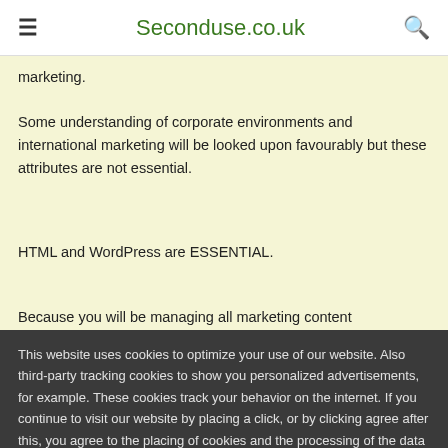≡  Seconduse.co.uk  🔍
marketing.
Some understanding of corporate environments and international marketing will be looked upon favourably but these attributes are not essential.
HTML and WordPress are ESSENTIAL.
Because you will be managing all marketing content
This website uses cookies to optimize your use of our website. Also third-party tracking cookies to show you personalized advertisements, for example. These cookies track your behavior on the internet. If you continue to visit our website by placing a click, or by clicking agree after this, you agree to the placing of cookies and the processing of the data that we and our partners obtain as a result. More information
OK